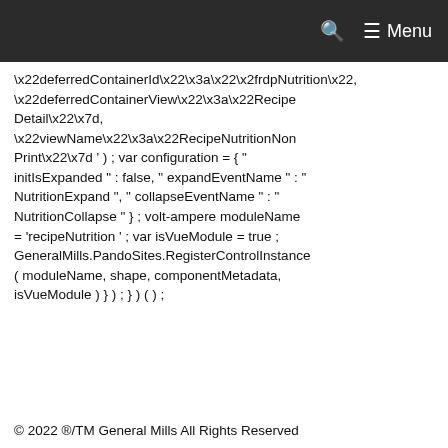Menu
\x22deferredContainerId\x22\x3a\x22\x2frdpNutrition\x22, \x22deferredContainerView\x22\x3a\x22RecipeDetail\x22\x7d, \x22viewName\x22\x3a\x22RecipeNutritionNonPrint\x22\x7d ' ) ; var configuration = { " initIsExpanded " : false, " expandEventName " : " NutritionExpand ", " collapseEventName " : " NutritionCollapse " } ; volt-ampere moduleName = 'recipeNutrition ' ; var isVueModule = true ; GeneralMills.PandoSites.RegisterControlInstance ( moduleName, shape, componentMetadata, isVueModule ) } ) ; } ) ( ) ;
© 2022 ®/TM General Mills All Rights Reserved